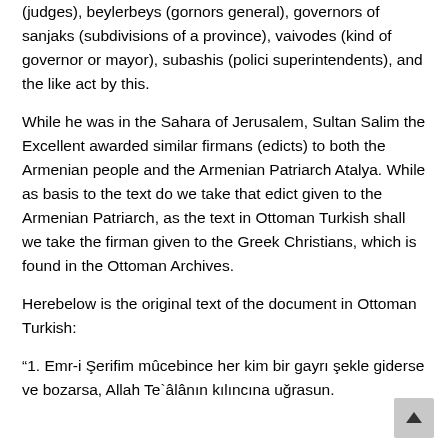(judges), beylerbeys (gornors general), governors of sanjaks (subdivisions of a province), vaivodes (kind of governor or mayor), subashis (polici superintendents), and the like act by this.
While he was in the Sahara of Jerusalem, Sultan Salim the Excellent awarded similar firmans (edicts) to both the Armenian people and the Armenian Patriarch Atalya. While as basis to the text do we take that edict given to the Armenian Patriarch, as the text in Ottoman Turkish shall we take the firman given to the Greek Christians, which is found in the Ottoman Archives.
Herebelow is the original text of the document in Ottoman Turkish:
“1. Emr-i Şerifim mûcebince her kim bir gayrı şekle giderse ve bozarsa, Allah Te`âlânın kılıncına uğrasun.